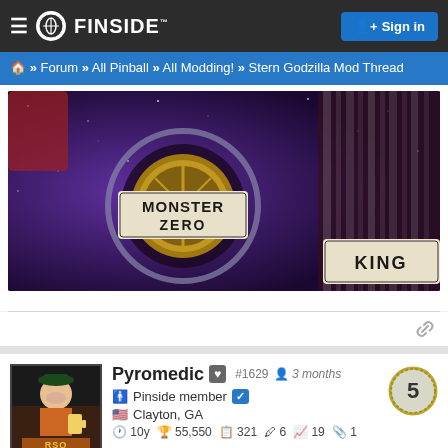≡ FINSIDE™   Sign in
🏠 » Forum » All Pinball » All Modding! » Stern Godzilla Mod Thread
[Figure (photo): Close-up photo of a Stern Godzilla pinball machine playfield showing two circular elements labeled MONSTER ZERO and KING]
Pyromedic  #1629  3 months  5
Pinside member ✓
Clayton, GA
10y  55,550  321  6  19  1